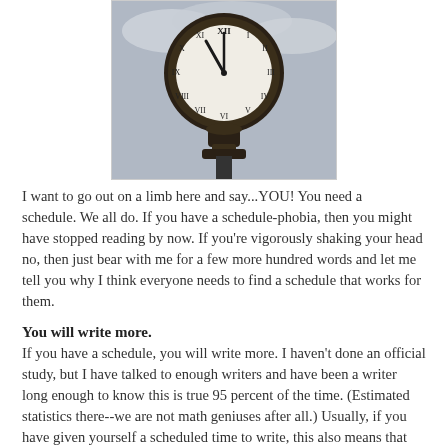[Figure (photo): A large ornate street clock with a dark metal frame, Roman numerals on a white face, mounted on a decorative post against a cloudy sky background.]
I want to go out on a limb here and say...YOU! You need a schedule. We all do. If you have a schedule-phobia, then you might have stopped reading by now. If you're vigorously shaking your head no, then just bear with me for a few more hundred words and let me tell you why I think everyone needs to find a schedule that works for them.
You will write more.
If you have a schedule, you will write more. I haven't done an official study, but I have talked to enough writers and have been a writer long enough to know this is true 95 percent of the time. (Estimated statistics there--we are not math geniuses after all.) Usually, if you have given yourself a scheduled time to write, this also means that you've made writing a priority. And if you've made writing a priority, then